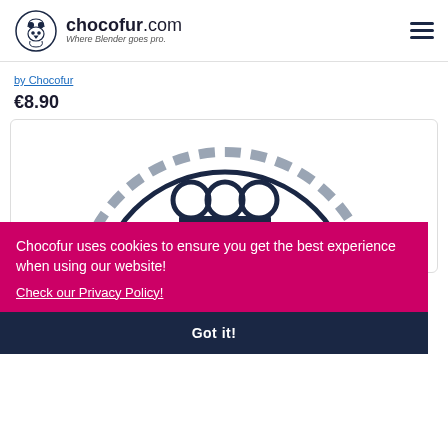chocofur.com — Where Blender goes pro.
by Chocofur
€8.90
[Figure (logo): Chocofur circular logo with stylized figure inside, showing a character design in dark navy blue line art on white background with dashed outer circle pattern]
Chocofur uses cookies to ensure you get the best experience when using our website!
Check our Privacy Policy!
Got it!